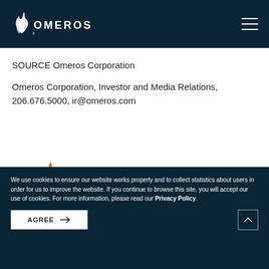[Figure (logo): Omeros Corporation logo — white flame/flame-like icon and OMEROS wordmark in white on dark navy background]
SOURCE Omeros Corporation
Omeros Corporation, Investor and Media Relations, 206.676.5000, ir@omeros.com
[Figure (logo): Omeros orange flame logo icon (partial, bottom of page body area)]
We use cookies to ensure our website works properly and to collect statistics about users in order for us to improve the website. If you continue to browse this site, you will accept our use of cookies. For more information, please read our Privacy Policy.